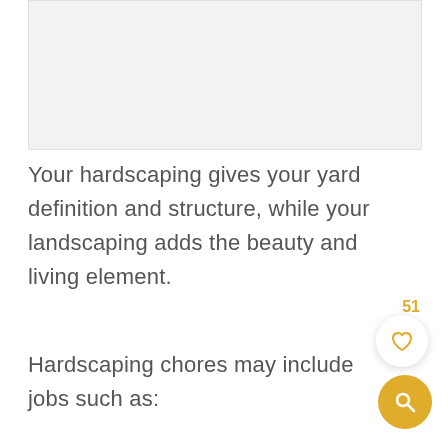[Figure (other): Light gray placeholder image area at the top of the page]
Your hardscaping gives your yard definition and structure, while your landscaping adds the beauty and living element.
Hardscaping chores may include jobs such as: